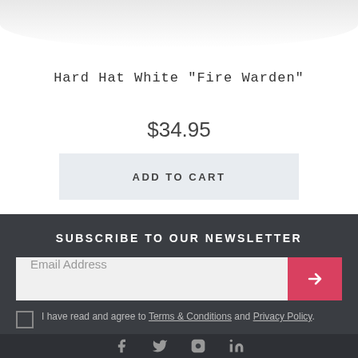[Figure (photo): Bottom portion of a white hard hat product image]
Hard Hat White "Fire Warden"
$34.95
ADD TO CART
SUBSCRIBE TO OUR NEWSLETTER
Email Address
I have read and agree to Terms & Conditions and Privacy Policy.